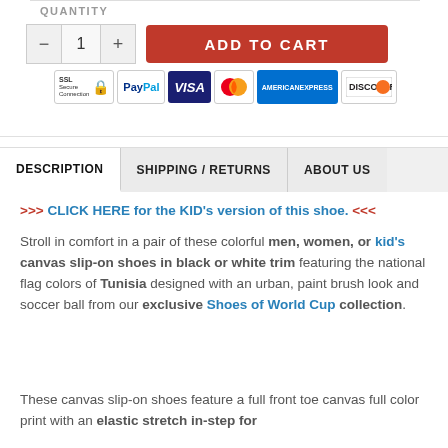QUANTITY
— 1 +   ADD TO CART
[Figure (other): Payment method badges: SSL Secure Connection, PayPal, VISA, Mastercard, American Express, Discover]
DESCRIPTION    SHIPPING / RETURNS    ABOUT US
>>> CLICK HERE for the KID's version of this shoe. <<<
Stroll in comfort in a pair of these colorful men, women, or kid's canvas slip-on shoes in black or white trim featuring the national flag colors of Tunisia designed with an urban, paint brush look and soccer ball from our exclusive Shoes of World Cup collection.
These canvas slip-on shoes feature a full front toe canvas full color print with an elastic stretch in-step for